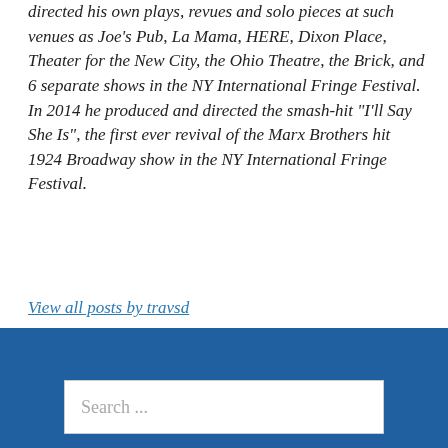directed his own plays, revues and solo pieces at such venues as Joe's Pub, La Mama, HERE, Dixon Place, Theater for the New City, the Ohio Theatre, the Brick, and 6 separate shows in the NY International Fringe Festival. In 2014 he produced and directed the smash-hit "I'll Say She Is", the first ever revival of the Marx Brothers hit 1924 Broadway show in the NY International Fringe Festival.
View all posts by travsd
< Previous
This Day in 1944: The Hartford Circus Fire
Next >
The Britton Band: Musical Maniacs
Search ...